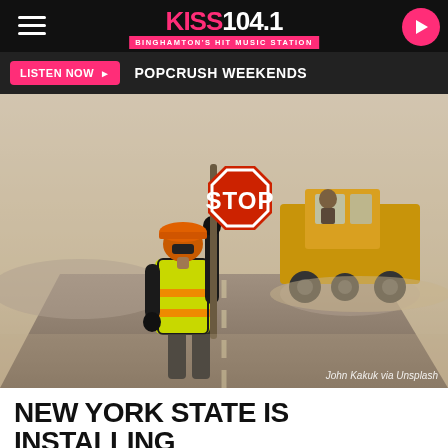KISS 104.1 - BINGHAMTON'S HIT MUSIC STATION
LISTEN NOW ▶  POPCRUSH WEEKENDS
[Figure (photo): Road construction worker in orange hard hat and yellow safety vest holding a STOP sign on a dusty road, with a large yellow construction vehicle in the background. Photo credit: John Kakuk via Unsplash]
John Kakuk via Unsplash
NEW YORK STATE IS INSTALLING